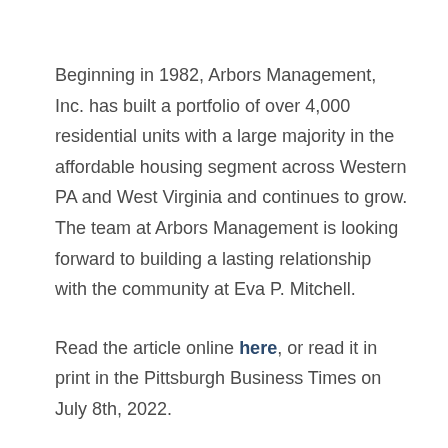Beginning in 1982, Arbors Management, Inc. has built a portfolio of over 4,000 residential units with a large majority in the affordable housing segment across Western PA and West Virginia and continues to grow. The team at Arbors Management is looking forward to building a lasting relationship with the community at Eva P. Mitchell.
Read the article online here, or read it in print in the Pittsburgh Business Times on July 8th, 2022.
If you'd like to learn more about how Arbors